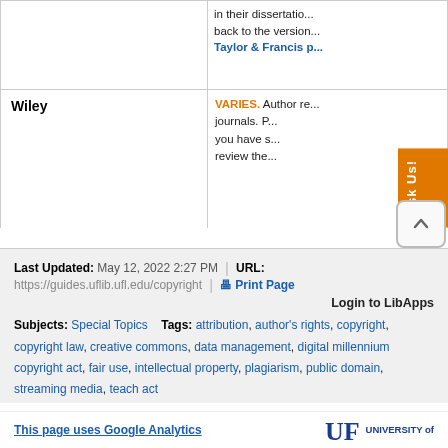| Publisher | Policy |
| --- | --- |
|  | in their dissertation... back to the version... Taylor & Francis p... |
| Wiley | VARIES. Author re... journals. P... you have s... review the... |
Last Updated: May 12, 2022 2:27 PM | URL: https://guides.uflib.ufl.edu/copyright | Print Page
Login to LibApps
Subjects: Special Topics   Tags: attribution, author's rights, copyright, copyright law, creative commons, data management, digital millennium copyright act, fair use, intellectual property, plagiarism, public domain, streaming media, teach act
This page uses Google Analytics
[Figure (logo): University of Florida UF logo with gator mark and 'UNIVERSITY of' text]